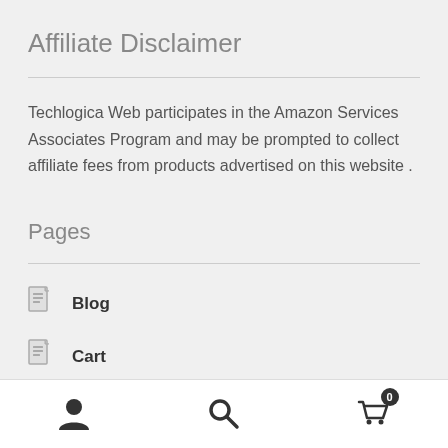Affiliate Disclaimer
Techlogica Web participates in the Amazon Services Associates Program and may be prompted to collect affiliate fees from products advertised on this website .
Pages
Blog
Cart